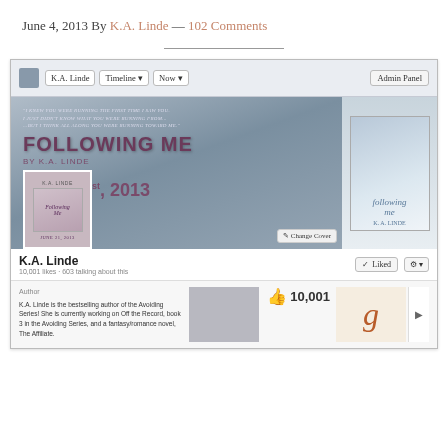June 4, 2013 By K.A. Linde — 102 Comments
[Figure (screenshot): Screenshot of K.A. Linde's Facebook page promoting 'Following Me' book, showing cover art, profile image, page stats of 10,001 likes, author bio, and Goodreads link.]